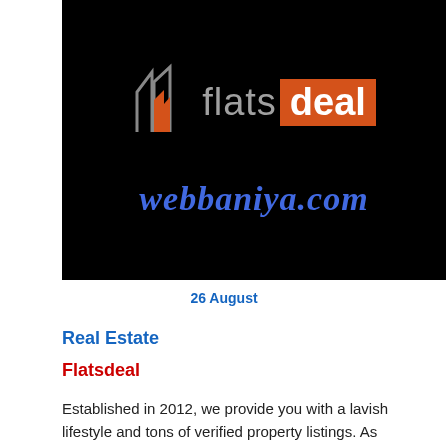[Figure (logo): Flatsdeal logo on black background with webbaniya.com text below in blue italic on dark background]
26 August
Real Estate
Flatsdeal
Established in 2012, we provide you with a lavish lifestyle and tons of verified property listings. As